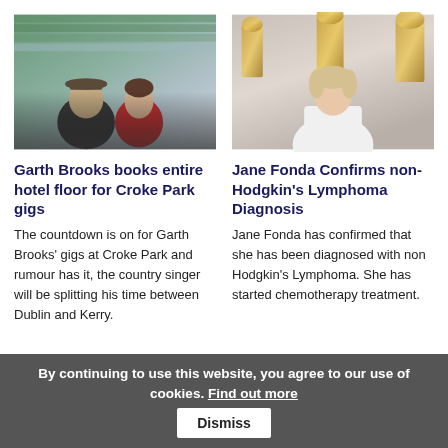[Figure (photo): Two people sitting in stadium seats, one wearing a cowboy hat and denim jacket, the other in a red top]
[Figure (photo): Woman in white outfit at what appears to be a red-carpet event with Oscar statuette backdrop]
Garth Brooks books entire hotel floor for Croke Park gigs
Jane Fonda Confirms non-Hodgkin's Lymphoma Diagnosis
The countdown is on for Garth Brooks' gigs at Croke Park and rumour has it, the country singer will be splitting his time between Dublin and Kerry.
Jane Fonda has confirmed that she has been diagnosed with non Hodgkin's Lymphoma. She has started chemotherapy treatment.
By continuing to use this website, you agree to our use of cookies. Find out more  Dismiss